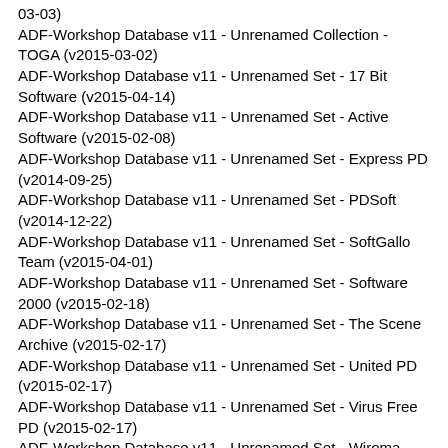03-03)
ADF-Workshop Database v11 - Unrenamed Collection - TOGA (v2015-03-02)
ADF-Workshop Database v11 - Unrenamed Set - 17 Bit Software (v2015-04-14)
ADF-Workshop Database v11 - Unrenamed Set - Active Software (v2015-02-08)
ADF-Workshop Database v11 - Unrenamed Set - Express PD (v2014-09-25)
ADF-Workshop Database v11 - Unrenamed Set - PDSoft (v2014-12-22)
ADF-Workshop Database v11 - Unrenamed Set - SoftGallo Team (v2015-04-01)
ADF-Workshop Database v11 - Unrenamed Set - Software 2000 (v2015-02-18)
ADF-Workshop Database v11 - Unrenamed Set - The Scene Archive (v2015-02-17)
ADF-Workshop Database v11 - Unrenamed Set - United PD (v2015-02-17)
ADF-Workshop Database v11 - Unrenamed Set - Virus Free PD (v2015-02-17)
ADF-Workshop Database v11 - Unrenamed Set - Wiroma (Argentina Computer Shop Collection) (v2013-07-04)
Download on DL-Free
Mirror:
Databases may also be downloaded from the Grandis FTP server: /~Uploads/Crashdisk/ADF-Workshop Database